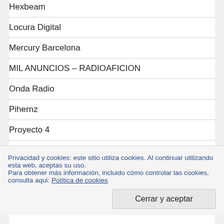Hexbeam
Locura Digital
Mercury Barcelona
MIL ANUNCIOS – RADIOAFICION
Onda Radio
Pihernz
Proyecto 4
Radio Center
RadioMania
Privacidad y cookies: este sitio utiliza cookies. Al continuar utilizando esta web, aceptas su uso.
Para obtener más información, incluido cómo controlar las cookies, consulta aqui: Política de cookies
Cerrar y aceptar